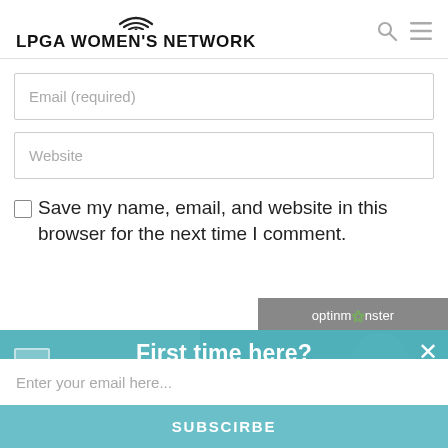LPGA WOMEN'S NETWORK
Email (required)
Website
Save my name, email, and website in this browser for the next time I comment.
[Figure (screenshot): OptinMonster popup overlay with text 'First time here? Join our free Community', an email input field, and a SUBSCIRBE button over a teal background with a golfer image]
First time here?
Join our free Community
Enter your email here...
SUBSCIRBE